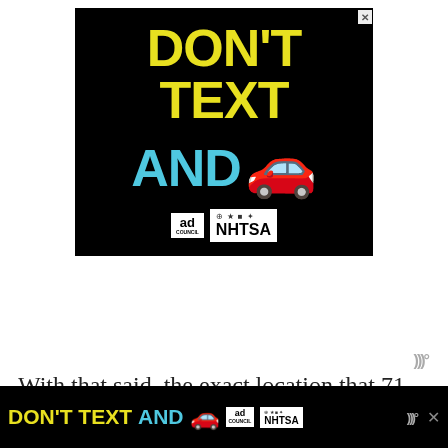[Figure (illustration): NHTSA / Ad Council 'Don't Text and Drive' public service advertisement on black background. Large yellow text reads 'DON'T TEXT' and large cyan text reads 'AND' with a red car emoji, followed by Ad Council and NHTSA logos at the bottom.]
With that said, the exact location that 71 times,
[Figure (illustration): Bottom sticky banner ad repeating the 'Don't Text and Drive' message with Ad Council and NHTSA logos, with a close button and SoundCloud icon.]